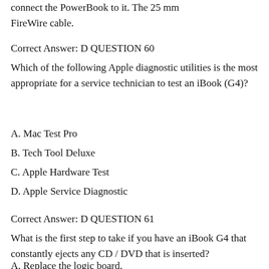connect the PowerBook to it. The 25 mm FireWire cable.
Correct Answer: D QUESTION 60
Which of the following Apple diagnostic utilities is the most appropriate for a service technician to test an iBook (G4)?
A. Mac Test Pro
B. Tech Tool Deluxe
C. Apple Hardware Test
D. Apple Service Diagnostic
Correct Answer: D QUESTION 61
What is the first step to take if you have an iBook G4 that constantly ejects any CD / DVD that is inserted?
A. Replace the logic board.